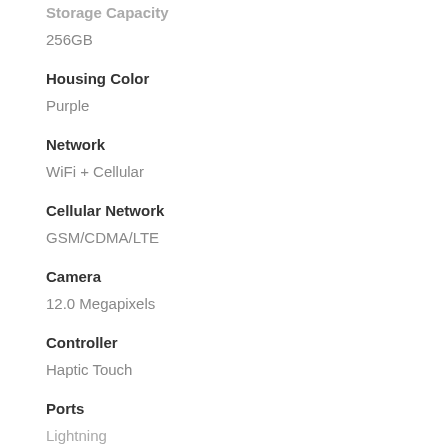Storage Capacity
256GB
Housing Color
Purple
Network
WiFi + Cellular
Cellular Network
GSM/CDMA/LTE
Camera
12.0 Megapixels
Controller
Haptic Touch
Ports
Lightning